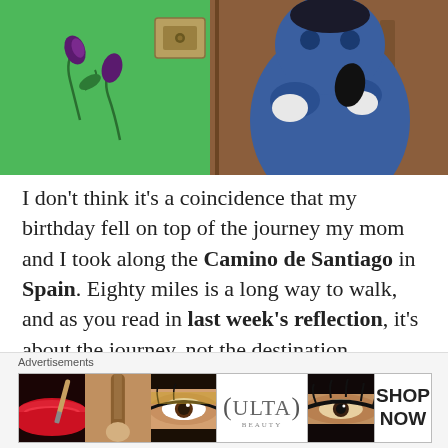[Figure (illustration): Cropped image of an animated cartoon character (blue figure) against a green wall with floral decoration, partially visible brown door frame]
I don't think it's a coincidence that my birthday fell on top of the journey my mom and I took along the Camino de Santiago in Spain. Eighty miles is a long way to walk, and as you read in last week's reflection, it's about the journey, not the destination.
[Figure (photo): Partial photo of a forest or wooded area with green trees, cropped at the bottom of the page]
[Figure (screenshot): Advertisement bar at the bottom: labeled 'Advertisements' with a strip of beauty ad images including lips with red lipstick, makeup brush, eye with makeup, Ulta Beauty logo, eye with makeup, and 'SHOP NOW' text box]